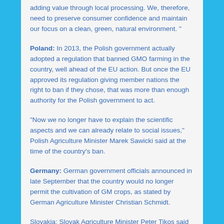adding value through local processing. We, therefore, need to preserve consumer confidence and maintain our focus on a clean, green, natural environment. "
Poland: In 2013, the Polish government actually adopted a regulation that banned GMO farming in the country, well ahead of the EU action. But once the EU approved its regulation giving member nations the right to ban if they chose, that was more than enough authority for the Polish government to act.
“Now we no longer have to explain the scientific aspects and we can already relate to social issues,” Polish Agriculture Minister Marek Sawicki said at the time of the country’s ban.
Germany: German government officials announced in late September that the country would no longer permit the cultivation of GM crops, as stated by German Agriculture Minister Christian Schmidt.
Slovakia: Slovak Agriculture Minister Peter Tikos said